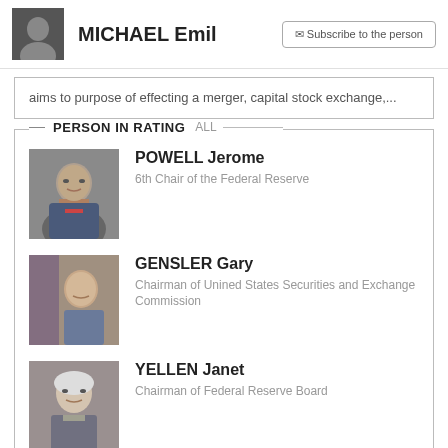MICHAEL Emil
aims to purpose of effecting a merger, capital stock exchange,...
PERSON IN RATING ALL
POWELL Jerome
6th Chair of the Federal Reserve
GENSLER Gary
Chairman of Unined States Securities and Exchange Commission
YELLEN Janet
Chairman of Federal Reserve Board
BOURLA Albert